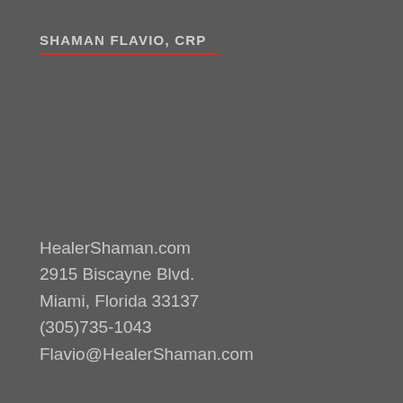SHAMAN FLAVIO, CRP
HealerShaman.com
2915 Biscayne Blvd.
Miami, Florida 33137
(305)735-1043
Flavio@HealerShaman.com